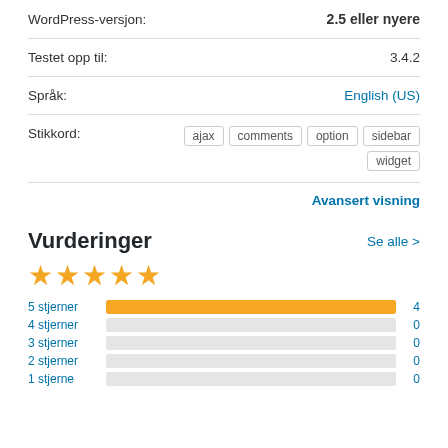| WordPress-versjon: | 2.5 eller nyere |
| Testet opp til: | 3.4.2 |
| Språk: | English (US) |
| Stikkord: | ajax  comments  option  sidebar  widget |
Avansert visning
Vurderinger
Se alle >
[Figure (other): 5 gold stars rating]
[Figure (bar-chart): Rating breakdown]